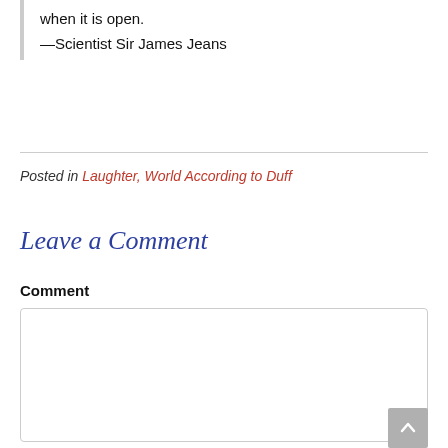when it is open.
—Scientist Sir James Jeans
Posted in Laughter, World According to Duff
Leave a Comment
Comment